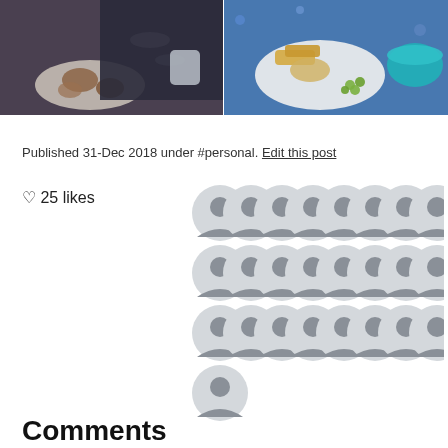[Figure (photo): Two photos side by side: left shows a person in a dark sweater with food on a white plate; right shows a plate of food with potatoes, peas, and a teal bowl on a blue Christmas tablecloth]
Published 31-Dec 2018 under #personal. Edit this post
♡ 25 likes
[Figure (illustration): 25 default user avatar icons arranged in a grid (3 rows of 8 plus 1), each showing a grey silhouette person on a light grey circle]
Comments